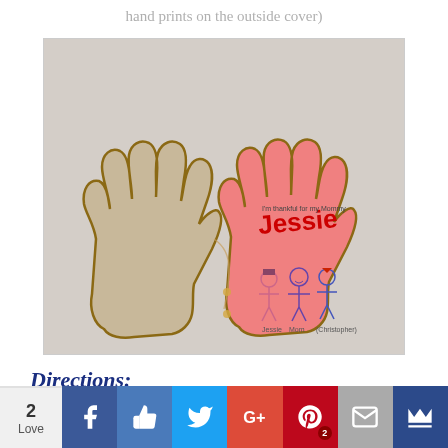hand prints on the outside cover)
[Figure (photo): Two hand-shaped cutouts made from cardboard/foam. The left one is plain beige/brown outlined, and the right is pink with a child's drawing and the name 'Jessie' written in red marker, with stick figure drawings of family members below. The hands are connected with string/yarn laced through holes.]
Directions:
2 Love | Facebook | Like | Twitter | Google+ | Pinterest 2 | Mail | Crown